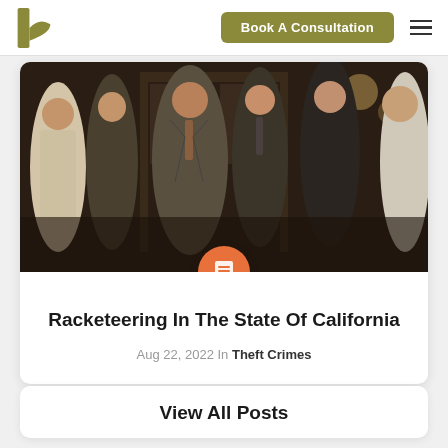h | Book A Consultation
[Figure (photo): Black and white / color film scene showing several men in suits shaking hands and conversing in a dark interior setting, resembling a mafia movie still (The Godfather).]
Racketeering In The State Of California
Aug 22, 2022 in Theft Crimes
View All Posts